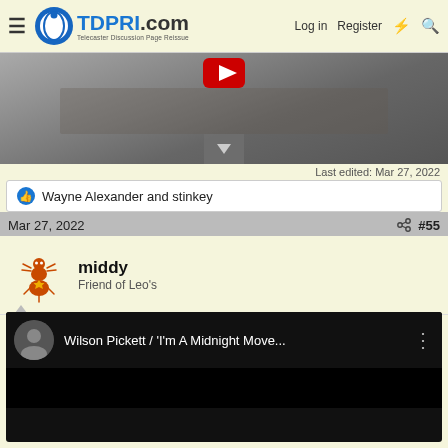TDPRI.com Telecaster Discussion Page Reissue — Log in  Register
[Figure (screenshot): Cropped video thumbnail showing a performer in black leather jacket holding a microphone, with a red YouTube play button overlay and a gray down-arrow button at bottom center]
Last edited: Mar 27, 2022
👍 Wayne Alexander and stinkey
Mar 27, 2022   #55
middy
Friend of Leo's
[Figure (screenshot): YouTube video embed showing Wilson Pickett / 'I'm A Midnight Move...' with a dark video thumbnail and channel avatar]